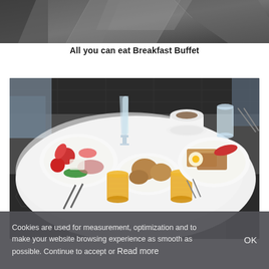[Figure (photo): Partial view of what appears to be a hotel or restaurant ceiling/wall area with geometric shapes in dark tones.]
All you can eat Breakfast Buffet
[Figure (photo): A round white table set with a lavish breakfast spread including glasses of orange juice, champagne flute, coffee cup, water glass, plates with vegetables, shrimp, ham, bread, and eggs.]
Cookies are used for measurement, optimization and to make your website browsing experience as smooth as possible. Continue to accept or Read more